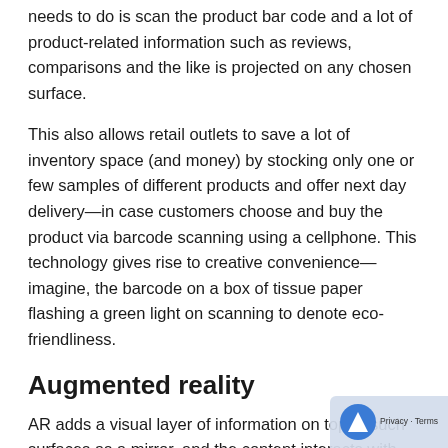needs to do is scan the product bar code and a lot of product-related information such as reviews, comparisons and the like is projected on any chosen surface.
This also allows retail outlets to save a lot of inventory space (and money) by stocking only one or few samples of different products and offer next day delivery—in case customers choose and buy the product via barcode scanning using a cellphone. This technology gives rise to creative convenience—imagine, the barcode on a box of tissue paper flashing a green light on scanning to denote eco-friendliness.
Augmented reality
AR adds a visual layer of information on top of such surfaces as a mirror, and the content interacts with layers of information provided by the real world. It is an increasi...